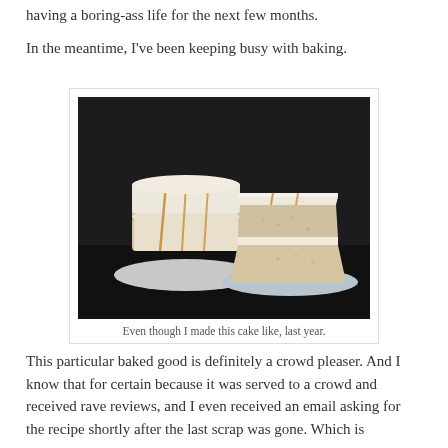having a boring-ass life for the next few months.
In the meantime, I've been keeping busy with baking.
[Figure (photo): A two-layer cake with white frosting and caramel drizzle, whole on a white plate on the left, and a slice of the same cake on a separate white plate on the right, photographed against a dark background.]
Even though I made this cake like, last year.
This particular baked good is definitely a crowd pleaser. And I know that for certain because it was served to a crowd and received rave reviews, and I even received an email asking for the recipe shortly after the last scrap was gone. Which is